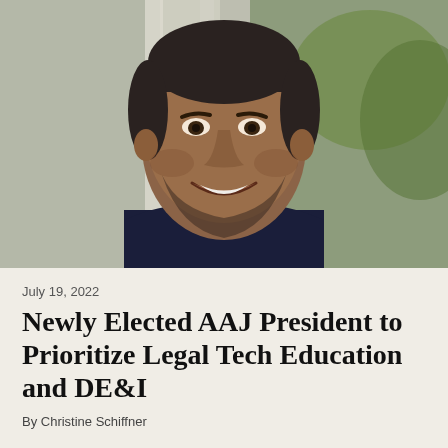[Figure (photo): Professional headshot of a smiling man with short dark hair and beard, wearing a dark suit and white shirt, photographed outdoors in front of a building with blurred background.]
July 19, 2022
Newly Elected AAJ President to Prioritize Legal Tech Education and DE&I
By Christine Schiffner